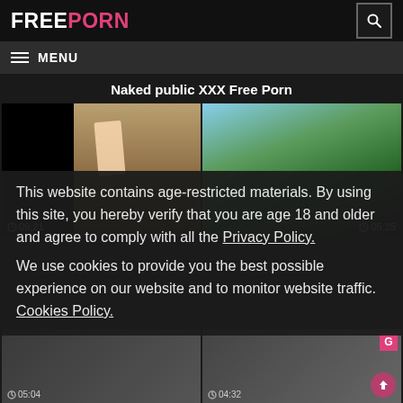FREEPORN
MENU
Naked public XXX Free Porn
[Figure (screenshot): Two video thumbnails side by side showing outdoor scenes with duration timestamps 09:21 and 05:25]
This website contains age-restricted materials. By using this site, you hereby verify that you are age 18 and older and agree to comply with all the Privacy Policy.
We use cookies to provide you the best possible experience on our website and to monitor website traffic. Cookies Policy.
[Figure (screenshot): Two partial video thumbnails at the bottom with duration timestamps 05:04 and 04:32]